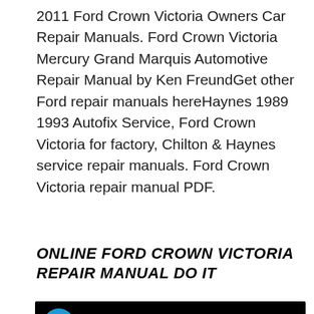2011 Ford Crown Victoria Owners Car Repair Manuals. Ford Crown Victoria Mercury Grand Marquis Automotive Repair Manual by Ken FreundGet other Ford repair manuals hereHaynes 1989 1993 Autofix Service, Ford Crown Victoria for factory, Chilton & Haynes service repair manuals. Ford Crown Victoria repair manual PDF.
ONLINE FORD CROWN VICTORIA REPAIR MANUAL DO IT
[Figure (screenshot): YouTube video thumbnail showing a dark/black background with a channel avatar (blue circle with letter M), title 'Lincoln Town Car Service & Repai...' in white text, and a three-dot menu icon on the right.]